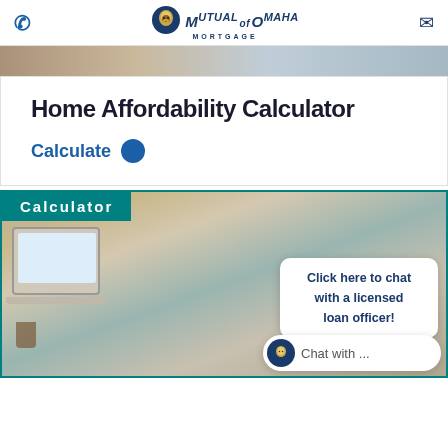Mutual of Omaha Mortgage
[Figure (photo): Cropped photo strip showing hands/people, partially visible at top]
Home Affordability Calculator
Calculate
[Figure (photo): Photo of a couple celebrating at home with a laptop, with a 'Calculator' label overlaid, and a chat widget reading 'Click here to chat with a licensed loan officer!' and 'Chat with ...']